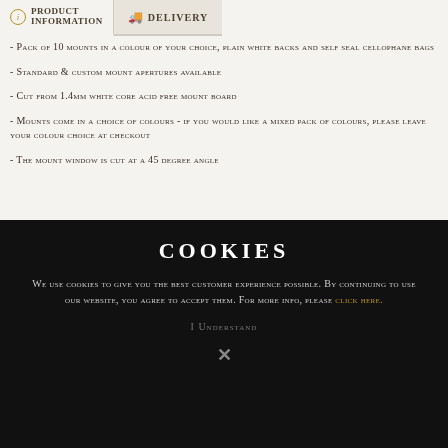PRODUCT INFORMATION | DELIVERY
- Pack of 10 mounts in a colour of your choice, plain white backs and self seal cellophane bags
- Standard & custom mount apertures available
- Cut from 1.4mm white core acid free mount board
- Mounts come in a choice of colours - if you would like a mixed pack of colours, please leave your colour choice at checkout
- The mount window is cut at a 45 degree angle
COOKIES
We use cookies to give you the best customer experience possible. By continuing to use our website, you agree to accept them. For more info, please click here.
I UNDERSTAND
X